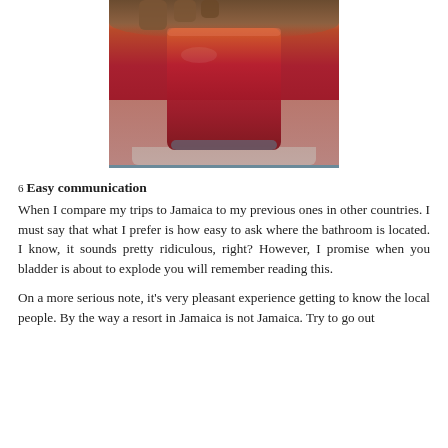[Figure (photo): A hand holding a small shot glass or cup containing a layered red/crimson colored drink, photographed from above against a light background.]
6 Easy communication
When I compare my trips to Jamaica to my previous ones in other countries. I must say that what I prefer is how easy to ask where the bathroom is located. I know, it sounds pretty ridiculous, right? However, I promise when you bladder is about to explode you will remember reading this.
On a more serious note, it’s very pleasant experience getting to know the local people. By the way a resort in Jamaica is not Jamaica. Try to go out